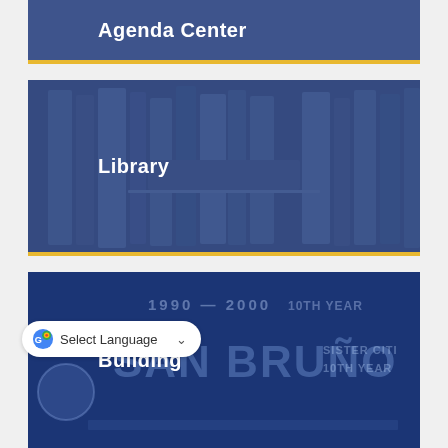[Figure (screenshot): Partial card at top with 'Agenda Center' text on dark navy blue background with gold bottom border]
Agenda Center
[Figure (screenshot): Card with 'Library' text on dark navy blue background overlaying a photo of library books/shelves, with gold bottom border]
Library
[Figure (screenshot): Card with 'Building' text on dark navy blue background overlaying a photo of San Bruno Sister City 10th Year sign (1990-2000), with gold bottom border]
Building
[Figure (screenshot): Google Translate 'Select Language' dropdown widget]
[Figure (screenshot): Partial card at bottom of page on dark navy blue background]